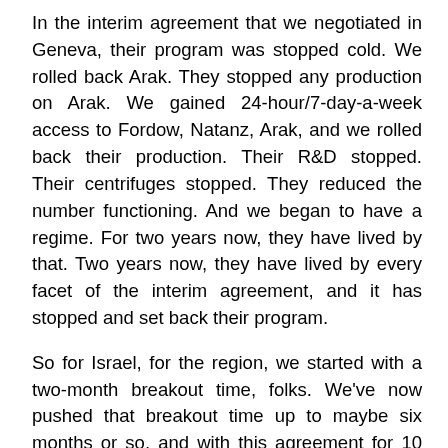In the interim agreement that we negotiated in Geneva, their program was stopped cold. We rolled back Arak. They stopped any production on Arak. We gained 24-hour/7-day-a-week access to Fordow, Natanz, Arak, and we rolled back their production. Their R&D stopped. Their centrifuges stopped. They reduced the number functioning. And we began to have a regime. For two years now, they have lived by that. Two years now, they have lived by every facet of the interim agreement, and it has stopped and set back their program.
So for Israel, for the region, we started with a two-month breakout time, folks. We've now pushed that breakout time up to maybe six months or so, and with this agreement for 10 years the breakout time will be one year or more. One year or more. Let's ask you a very simple question: Is Israel safer with a one-year breakout time or a two-month breakout time? Frankly, two months is more